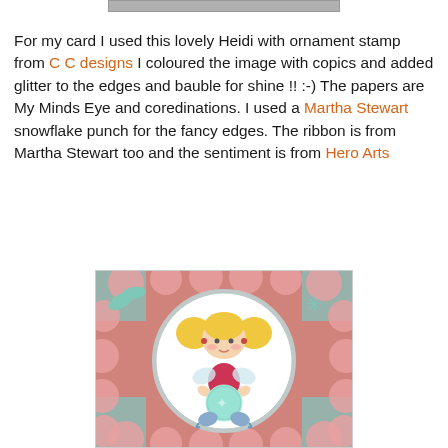[Figure (photo): Partial top image bar visible at top of page]
For my card I used this lovely Heidi with ornament stamp from C C designs I coloured the image with copics and added glitter to the edges and bauble for shine !! :-) The papers are My Minds Eye and coredinations. I used a Martha Stewart snowflake punch for the fancy edges. The ribbon is from Martha Stewart too and the sentiment is from Hero Arts
[Figure (photo): Handmade Christmas card featuring a cute blonde girl fairy/elf stamped image colored with copics, holding a glitter ornament, displayed on a circular white panel on a pink floral and teal background]